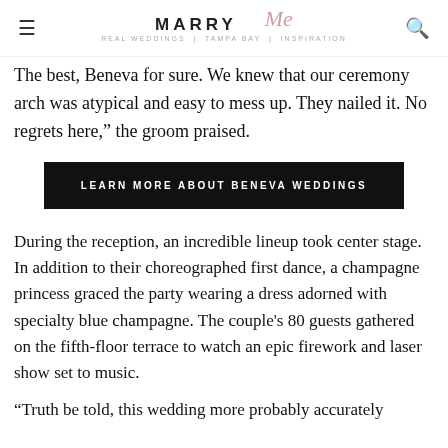MARRY Me Tampa Bay
The best, Beneva for sure. We knew that our ceremony arch was atypical and easy to mess up. They nailed it. No regrets here,” the groom praised.
LEARN MORE ABOUT BENEVA WEDDINGS
During the reception, an incredible lineup took center stage. In addition to their choreographed first dance, a champagne princess graced the party wearing a dress adorned with specialty blue champagne. The couple’s 80 guests gathered on the fifth-floor terrace to watch an epic firework and laser show set to music.
“Truth be told, this wedding more probably accurately